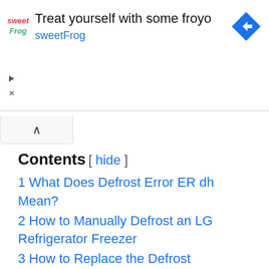[Figure (infographic): sweetFrog advertisement banner: logo on left, headline 'Treat yourself with some froyo', subtext 'sweetFrog', navigation/directions icon on right]
Contents [ hide ]
1 What Does Defrost Error ER dh Mean?
2 How to Manually Defrost an LG Refrigerator Freezer
3 How to Replace the Defrost